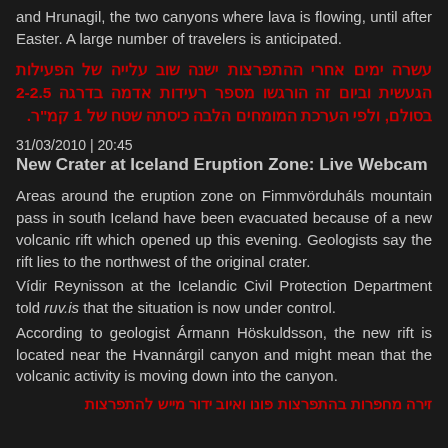and Hrunagil, the two canyons where lava is flowing, until after Easter. A large number of travelers is anticipated.
עשרה ימים אחרי ההתפרצות ישנה שוב עלייה של הפעילות הגעשית וביום זה הורגשו מספר רעידות אדמה בדרגה 2-2.5 בסולם, ולפי הערכת המומחים הלבה כיסתה שטח של 1 קמ"ר.
31/03/2010 | 20:45
New Crater at Iceland Eruption Zone: Live Webcam
Areas around the eruption zone on Fimmvörduháls mountain pass in south Iceland have been evacuated because of a new volcanic rift which opened up this evening. Geologists say the rift lies to the northwest of the original crater.
Vídir Reynisson at the Icelandic Civil Protection Department told ruv.is that the situation is now under control.
According to geologist Ármann Höskuldsson, the new rift is located near the Hvannárgil canyon and might mean that the volcanic activity is moving down into the canyon.
זירה מחפרות בהתפרצות פונו ואיוב ידור מייש להתפרצות